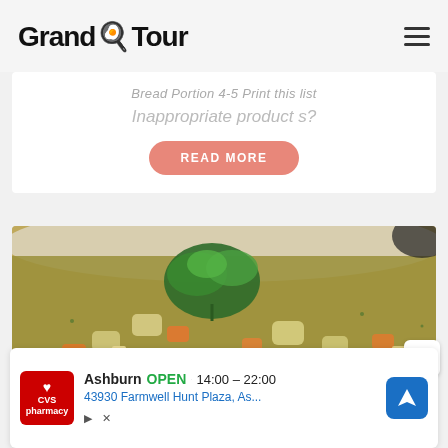Grand Tour
Bread Portion 4-5 Print this list
Inappropriate product s?
READ MORE
[Figure (photo): A bowl of vegetable soup with pasta, carrots, potatoes, and garnished with fresh parsley on top.]
Ashburn  OPEN  14:00 – 22:00  43930 Farmwell Hunt Plaza, As...